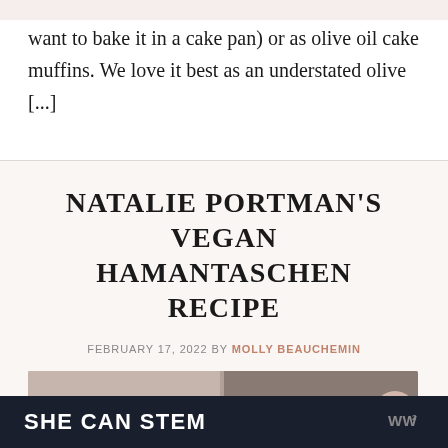want to bake it in a cake pan) or as olive oil cake muffins. We love it best as an understated olive [...]
NATALIE PORTMAN'S VEGAN HAMANTASCHEN RECIPE
FEBRUARY 17, 2022 BY MOLLY BEAUCHEMIN
[Figure (photo): Two side-by-side food/lifestyle photos partially visible at bottom of card]
SHE CAN STEM